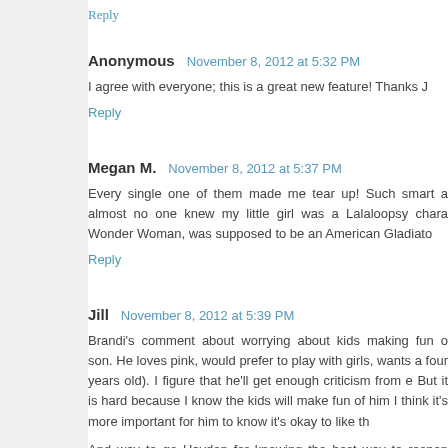Reply
Anonymous  November 8, 2012 at 5:32 PM
I agree with everyone; this is a great new feature! Thanks J
Reply
Megan M.  November 8, 2012 at 5:37 PM
Every single one of them made me tear up! Such smart a almost no one knew my little girl was a Lalaloopsy chara Wonder Woman, was supposed to be an American Gladiato
Reply
Jill  November 8, 2012 at 5:39 PM
Brandi's comment about worrying about kids making fun o son. He loves pink, would prefer to play with girls, wants a four years old). I figure that he'll get enough criticism from e But it is hard because I know the kids will make fun of him I think it's more important for him to know it's okay to like th
And way to go Hayden for knowing the best way to respon always got defensive, believing I had to defend my opini something wrong with me and I had a stupid opinion. I kno learn how to respond just like Hayden.